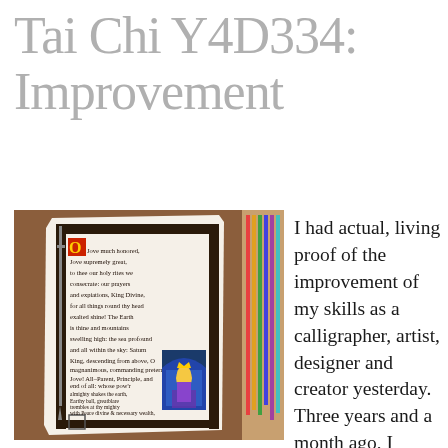Tai Chi Y4D334: Improvement
[Figure (photo): A handwritten calligraphic manuscript page with illuminated medieval-style artwork, showing a hymn to Jove with decorative border and a stained-glass style illustration of a crowned figure.]
I had actual, living proof of the improvement of my skills as a calligrapher, artist, designer and creator yesterday. Three years and a month ago, I created this